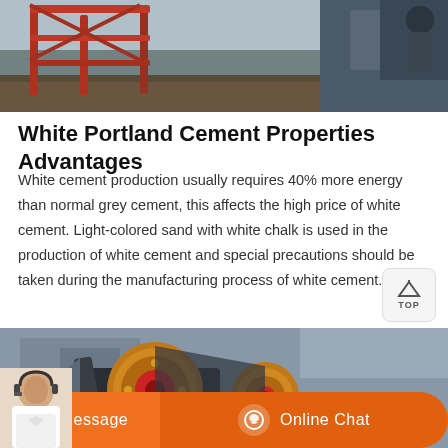[Figure (photo): Industrial equipment photo showing red metal scaffolding/frame structure outdoors with dirt ground visible]
White Portland Cement Properties Advantages
White cement production usually requires 40% more energy than normal grey cement, this affects the high price of white cement. Light-colored sand with white chalk is used in the production of white cement and special precautions should be taken during the manufacturing process of white cement.
[Figure (photo): Industrial machinery photo showing large rotating drum/pulley equipment with yellow and black coloring against a building backdrop]
[Figure (other): Message and Online Chat buttons bar at the bottom with a customer service representative photo]